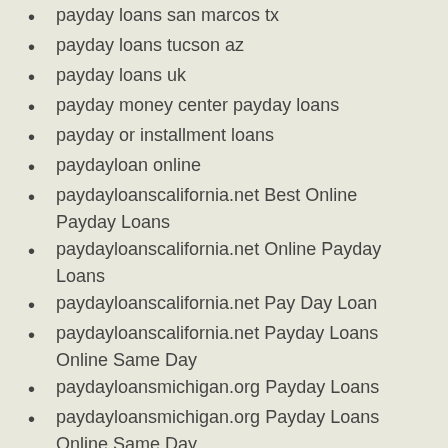payday loans san marcos tx
payday loans tucson az
payday loans uk
payday money center payday loans
payday or installment loans
paydayloan online
paydayloanscalifornia.net Best Online Payday Loans
paydayloanscalifornia.net Online Payday Loans
paydayloanscalifornia.net Pay Day Loan
paydayloanscalifornia.net Payday Loans Online Same Day
paydayloansmichigan.org Payday Loans
paydayloansmichigan.org Payday Loans Online Same Day
paydayloansmissouri.org Payday Loan Near Me